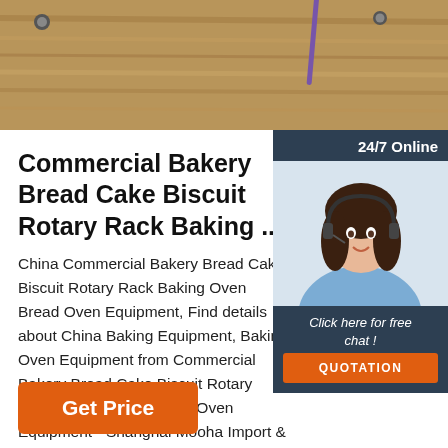[Figure (photo): Top portion of a product webpage showing a wooden surface with baking tools (ruler/scraper visible), cropped at top of page]
Commercial Bakery Bread Cake Biscuit Rotary Rack Baking ...
China Commercial Bakery Bread Cake Biscuit Rotary Rack Baking Oven Bread Oven Equipment, Find details about China Baking Equipment, Baking Oven Equipment from Commercial Bakery Bread Cake Biscuit Rotary Rack Baking Oven Bread Oven Equipment - Shanghai Mooha Import & Export Co., Ltd.
[Figure (infographic): Live chat widget with dark navy background showing '24/7 Online' header, photo of smiling female customer service representative with headset, 'Click here for free chat!' text, and orange QUOTATION button]
[Figure (illustration): Orange dotted triangle 'TOP' back-to-top button icon]
Get Price